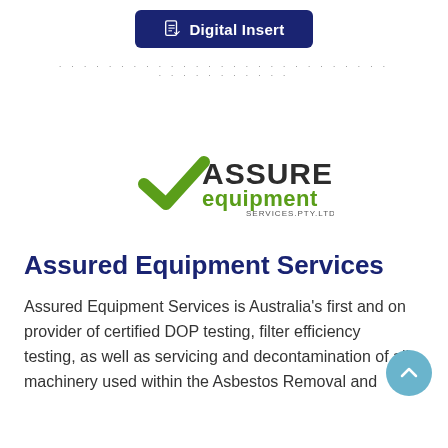Digital Insert
[Figure (logo): Assured Equipment Services logo with green checkmark and company name]
Assured Equipment Services
Assured Equipment Services is Australia's first and only provider of certified DOP testing, filter efficiency testing, as well as servicing and decontamination of all machinery used within the Asbestos Removal and